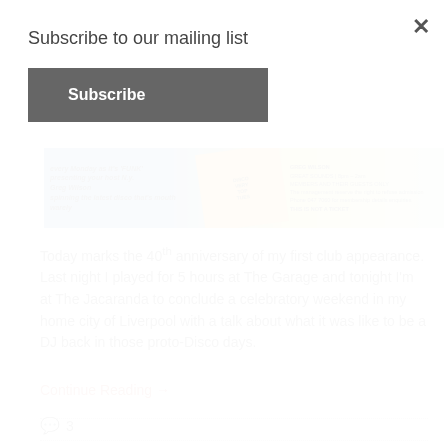Subscribe to our mailing list
Subscribe
[Figure (photo): Banner image showing Greg Wilson club flyer with blue, yellow, and green sections. Text includes 'Greg Wilson' and 'GREAT SOUNDS | 8pm - 2am MEMBERS AND THEIR GUESTS ONLY THIS IS NOT A TICKET']
Today marks the 40th anniversary of my first club appearance. Last night I played for 5 hours at The Garage and tonight I'm at The Jacaranda to conclude a celebratory weekend in my home city of Liverpool with a talk about what it was like to be a DJ back in those proto-Disco days.
Continue Reading →
3
Mutant Disco
by Greg Wilson on October 31, 2014 in Bowie, DJ / Club Culture